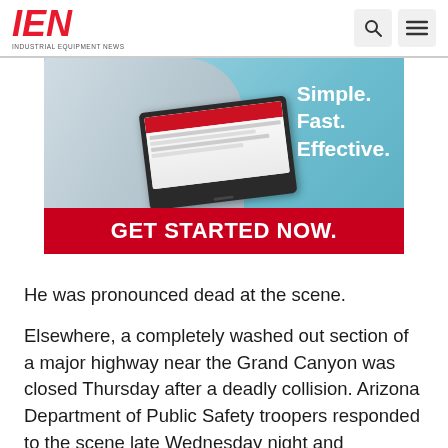IEN - INDUSTRIAL EQUIPMENT NEWS
[Figure (illustration): Advertisement banner showing a man holding a laptop with text 'Simple. Fast. Effective.' and a red bar at the bottom reading 'GET STARTED NOW.']
He was pronounced dead at the scene.
Elsewhere, a completely washed out section of a major highway near the Grand Canyon was closed Thursday after a deadly collision. Arizona Department of Public Safety troopers responded to the scene late Wednesday night and discovered a